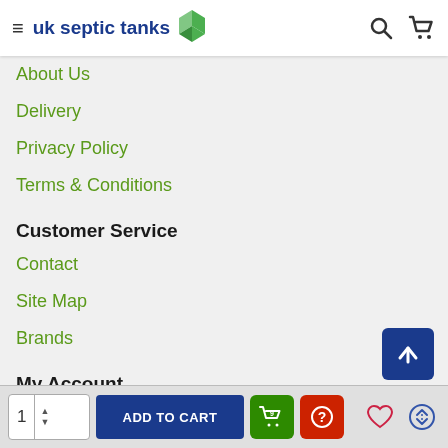uk septic tanks
About Us
Delivery
Privacy Policy
Terms & Conditions
Customer Service
Contact
Site Map
Brands
My Account
My Account
Order History